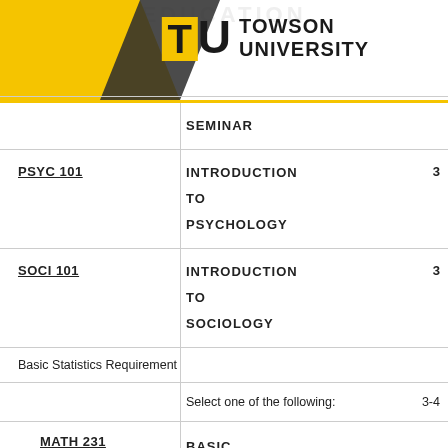[Figure (logo): Towson University logo with yellow TU monogram and bold text]
| Course | Title | Credits |
| --- | --- | --- |
|  | SEMINAR |  |
| PSYC 101 | INTRODUCTION TO PSYCHOLOGY | 3 |
| SOCI 101 | INTRODUCTION TO SOCIOLOGY | 3 |
| Basic Statistics Requirement |  |  |
| Select one of the following: |  | 3-4 |
| MATH 231 | BASIC |  |